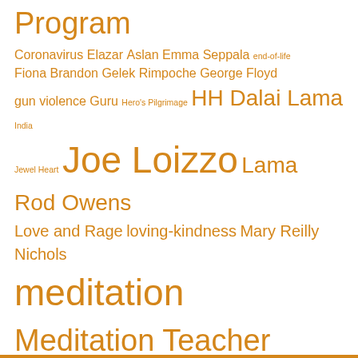[Figure (infographic): Tag cloud with various topics in orange, varying font sizes indicating frequency/importance. Topics include: Program, Coronavirus, Elazar, Aslan, Emma Seppala, end-of-life, Fiona Brandon, Gelek Rimpoche, George Floyd, gun violence, Guru, Hero's Pilgrimage, HH Dalai Lama, India, Jewel Heart, Joe Loizzo, Lama Rod Owens, Love and Rage, loving-kindness, Mary Reilly Nichols, meditation, Meditation Teacher Training, Mind & Spirit, Neuroscience, Pilar Jennings, Polyvagal Theory, Retreat, Roshi Joan Halifax, san francisco, Scott Tusa, Shakyamuni Buddha, sharon salzberg, Stephen Porges, Students, summer reading, Sustainable Happiness, To Heal a Wounded Heart, trauma, Yoga, Yoga Mind & Spirit]
SUBSCRIBE TODAY to receive the latest news and a handful of inspiration